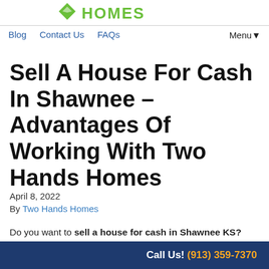[Figure (logo): Two Hands Homes logo with green diamond/house icon and green HOMES text]
Blog   Contact Us   FAQs   Menu▼
Sell A House For Cash In Shawnee – Advantages Of Working With Two Hands Homes
April 8, 2022
By Two Hands Homes
Do you want to sell a house for cash in Shawnee KS?
Call Us! (913) 359-7370